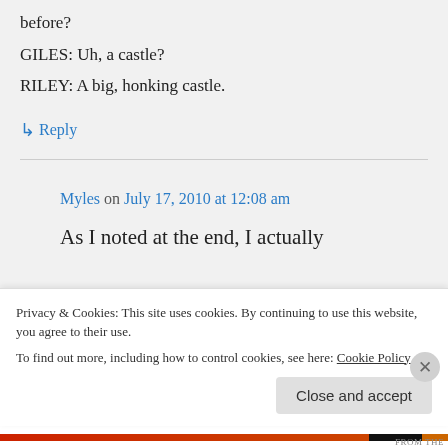before?
GILES: Uh, a castle?
RILEY: A big, honking castle.
↳ Reply
Myles on July 17, 2010 at 12:08 am
As I noted at the end, I actually came to appreciate some of those comic elements more over the
Privacy & Cookies: This site uses cookies. By continuing to use this website, you agree to their use.
To find out more, including how to control cookies, see here: Cookie Policy
Close and accept